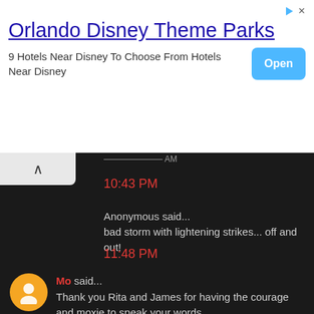[Figure (screenshot): Advertisement banner for Orlando Disney Theme Parks with an Open button]
Orlando Disney Theme Parks
9 Hotels Near Disney To Choose From Hotels Near Disney
10:43 PM
Anonymous said...
bad storm with lightening strikes... off and out!
11:48 PM
Mo said...
Thank you Rita and James for having the courage and moxie to speak your words.

It's been a long time coming and I can't wait for the Inquest. As it's been said, sources will now reveal themselves. Confirmation of what was known or felt from the beginning. Justice and